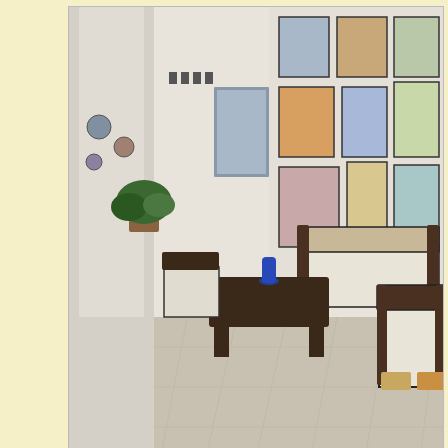[Figure (photo): Interior of a colonial-style sala (living room) with tiled floors, dark wood furniture including sofas and a coffee table, plants, decorative plates on white walls, and many framed paintings and artworks hanging on the right wall.]
Colonial floor plans add charm and dignity to Alamos floor plan
As we sat talking in the sala we were surrounded by Roberto's mosaic paintings. Our conversation was interrupted by a couple of phone calls. It sounded like they were October Festival calls. And then he was gone to oversee work taking place in one of his two garages.
[Figure (photo): Three framed paintings or artworks displayed, partially visible at the bottom of the page. The leftmost shows a figure in blue, the center shows a red/abstract composition, and the right edge shows another colorful piece.]